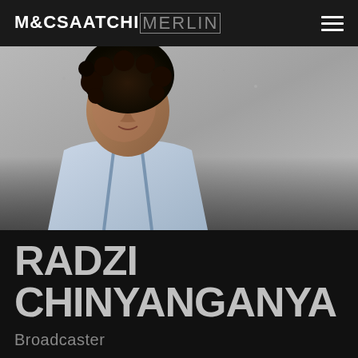M&C SAATCHI MERLIN
[Figure (photo): Portrait photo of Radzi Chinyanganya, a young man with curly dark hair wearing a light blue shirt, photographed against a concrete wall background.]
RADZI CHINYANGANYA
Broadcaster